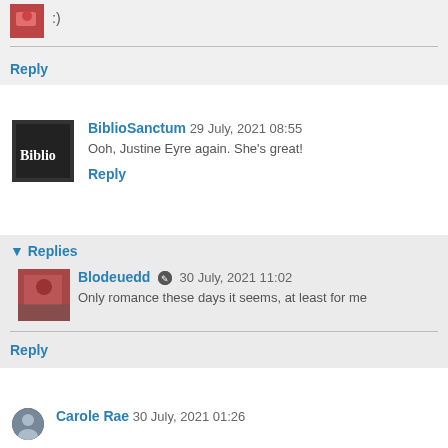:)
Reply
BiblioSanctum 29 July, 2021 08:55
Ooh, Justine Eyre again. She's great!
Reply
Replies
Blodeuedd 30 July, 2021 11:02
Only romance these days it seems, at least for me
Reply
Carole Rae 30 July, 2021 01:26